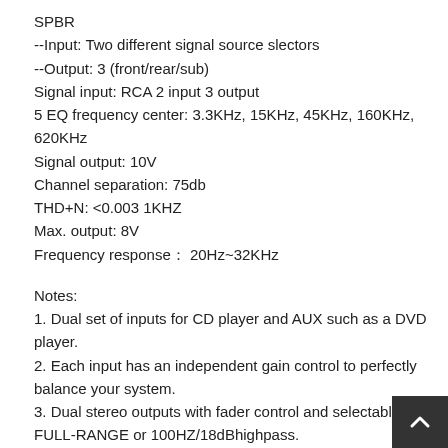SPBR
--Input: Two different signal source slectors
--Output: 3 (front/rear/sub)
Signal input: RCA 2 input 3 output
5 EQ frequency center: 3.3KHz, 15KHz, 45KHz, 160KHz, 620KHz
Signal output: 10V
Channel separation: 75db
THD+N: <0.003 1KHZ
Max. output: 8V
Frequency response： 20Hz~32KHz
Notes:
1. Dual set of inputs for CD player and AUX such as a DVD player.
2. Each input has an independent gain control to perfectly balance your system.
3. Dual stereo outputs with fader control and selectable FULL-RANGE or 100HZ/18dBhighpass.
4. Independently controlled sub outputs.
Output is not affected by fader position.
5. Allows balancing of sub output.
6. Subsonic filter protects your subwoofers from damaging